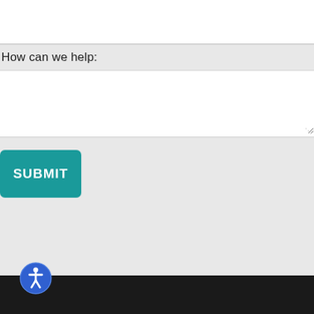How can we help:
[Figure (screenshot): A web form textarea input box with a resize handle at bottom right corner]
[Figure (other): A teal SUBMIT button with rounded corners and white bold uppercase text]
[Figure (other): Accessibility icon: blue circle with white human figure (wheelchair/person symbol) at bottom left corner overlapping the dark footer bar]